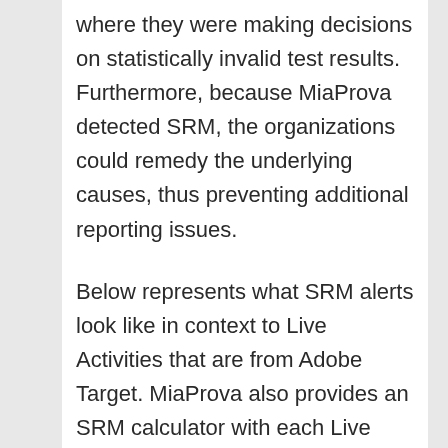where they were making decisions on statistically invalid test results. Furthermore, because MiaProva detected SRM, the organizations could remedy the underlying causes, thus preventing additional reporting issues.
Below represents what SRM alerts look like in context to Live Activities that are from Adobe Target. MiaProva also provides an SRM calculator with each Live Adobe Target Activity that is an A/B Activity. Automated Personalization, Experience Targeting, and Auto-Allocate Activity types have logic to promote differences in sample distribution across Activity variants.